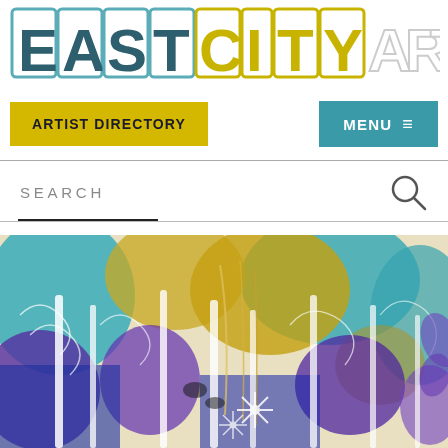EASTCITYART
ARTIST DIRECTORY | MENU
SEARCH
[Figure (photo): Colorful abstract painting with purple, blue, teal, yellow/gold tones featuring tree-like forms and floral/vine patterns with white outlines]